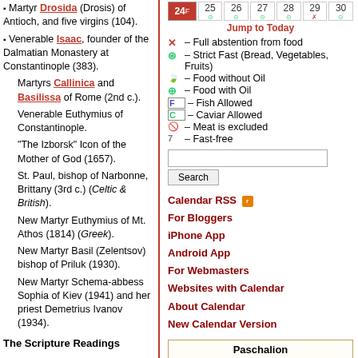Martyr Drosida (Drosis) of Antioch, and five virgins (104).
Venerable Isaac, founder of the Dalmatian Monastery at Constantinople (383).
Martyrs Callinica and Basilissa of Rome (2nd c.).
Venerable Euthymius of Constantinople.
"The Izborsk" Icon of the Mother of God (1657).
St. Paul, bishop of Narbonne, Brittany (3rd c.) (Celtic & British).
New Martyr Euthymius of Mt. Athos (1814) (Greek).
New Martyr Basil (Zelentsov) bishop of Priluk (1930).
New Martyr Schema-abbess Sophia of Kiev (1941) and her priest Demetrius Ivanov (1934).
The Scripture Readings
[Figure (other): Calendar row showing dates 24F through 30 with fasting icons]
Jump to Today
X – Full abstention from food
S – Strict Fast (Bread, Vegetables, Fruits)
leaf – Food without Oil
O – Food with Oil
F – Fish Allowed
C – Caviar Allowed
M – Meat is excluded
7 – Fast-free
| Date | Event |
| --- | --- |
| Feb 21 | Sunday of the Publican and Pharisee |
| Mar 06 | Meatfare Sunday |
Paschalion